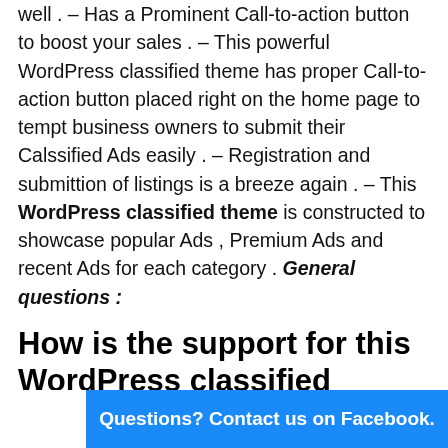well . – Has a Prominent Call-to-action button to boost your sales . – This powerful WordPress classified theme has proper Call-to-action button placed right on the home page to tempt business owners to submit their Calssified Ads easily . – Registration and submittion of listings is a breeze again . – This WordPress classified theme is constructed to showcase popular Ads , Premium Ads and recent Ads for each category . General questions :
How is the support for this WordPress classified theme ?
The support for this responsive WordPress classified theme and the included products are top notch and by experts . You will be given exclusive access to user friendly documentation for the product .
How is t
Questions? Contact us on Facebook.